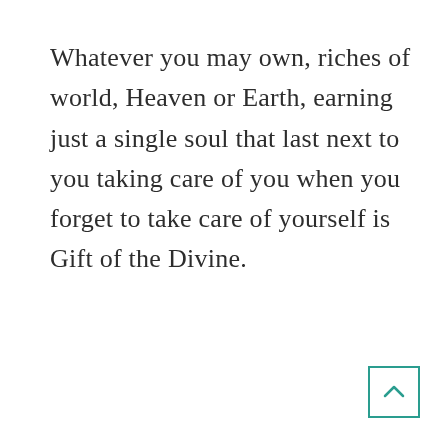Whatever you may own, riches of world, Heaven or Earth, earning just a single soul that last next to you taking care of you when you forget to take care of yourself is Gift of the Divine.
[Figure (other): A teal-outlined square button with an upward-pointing chevron arrow, positioned at the bottom-right corner of the page.]